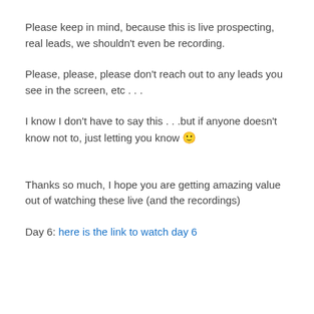Please keep in mind, because this is live prospecting, real leads, we shouldn't even be recording.
Please, please, please don't reach out to any leads you see in the screen, etc . . .
I know I don't have to say this . . .but if anyone doesn't know not to, just letting you know 🙂
Thanks so much, I hope you are getting amazing value out of watching these live (and the recordings)
Day 6: here is the link to watch day 6